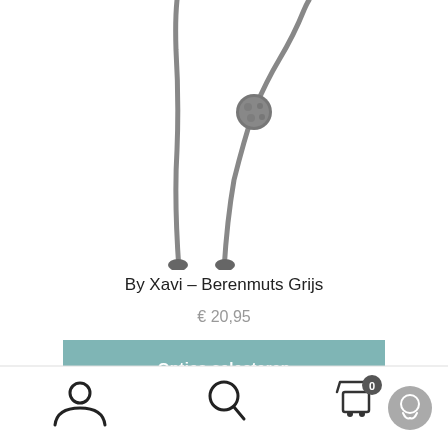[Figure (photo): Grey knitted bear hat (berenmuts) with string ties and a small pompom, shown hanging against a white background — only the lower portion of the item is visible.]
By Xavi – Berenmuts Grijs
€ 20,95
Opties selecteren
[Figure (photo): Dark olive/green knitted hat shown at the bottom edge of the page, partially cropped.]
[Figure (infographic): Bottom navigation bar with icons: user/account icon, search (magnifying glass) icon, shopping cart icon with badge showing 0, and a chat/support circle icon.]